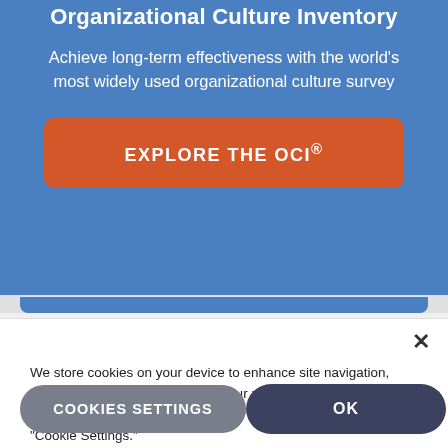Organizational Culture Inventory
Achieve long-term effectiveness with the world's most widely used organizational culture survey
[Figure (other): Orange rounded button with text EXPLORE THE OCI®]
We store cookies on your device to enhance site navigation, analyze site usage, and assist in our marketing efforts. Manage your cookie preferences for our website by clicking "Cookie Settings."
[Figure (other): Cookie consent dialog with COOKIES SETTINGS and OK buttons]